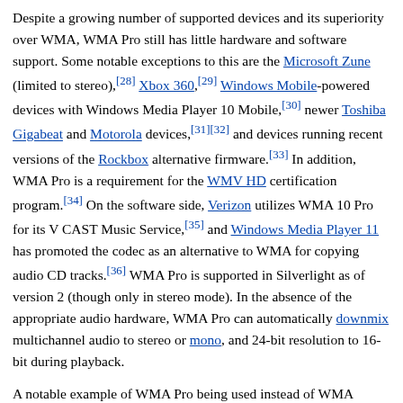Despite a growing number of supported devices and its superiority over WMA, WMA Pro still has little hardware and software support. Some notable exceptions to this are the Microsoft Zune (limited to stereo),[28] Xbox 360,[29] Windows Mobile-powered devices with Windows Media Player 10 Mobile,[30] newer Toshiba Gigabeat and Motorola devices,[31][32] and devices running recent versions of the Rockbox alternative firmware.[33] In addition, WMA Pro is a requirement for the WMV HD certification program.[34] On the software side, Verizon utilizes WMA 10 Pro for its V CAST Music Service,[35] and Windows Media Player 11 has promoted the codec as an alternative to WMA for copying audio CD tracks.[36] WMA Pro is supported in Silverlight as of version 2 (though only in stereo mode). In the absence of the appropriate audio hardware, WMA Pro can automatically downmix multichannel audio to stereo or mono, and 24-bit resolution to 16-bit during playback.
A notable example of WMA Pro being used instead of WMA Standard is the NBC Olympics website which uses WMA 10 Pro in its low-bitrate mode at 48 kbit/s.[citation needed]
Windows Media Audio Lossless